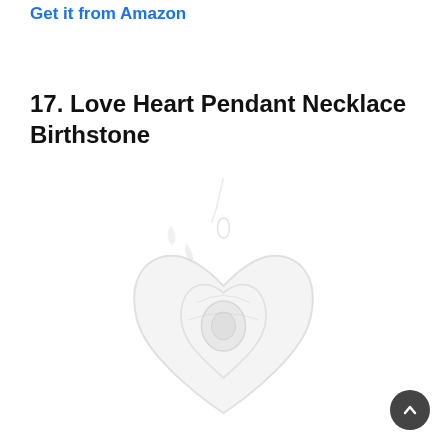Get it from Amazon
17. Love Heart Pendant Necklace Birthstone
[Figure (photo): A faint watermarked product image of a love heart pendant necklace with birthstone, shown as a pendant with heart shape and decorative elements, displayed in light gray/white tones as a watermark-style image.]